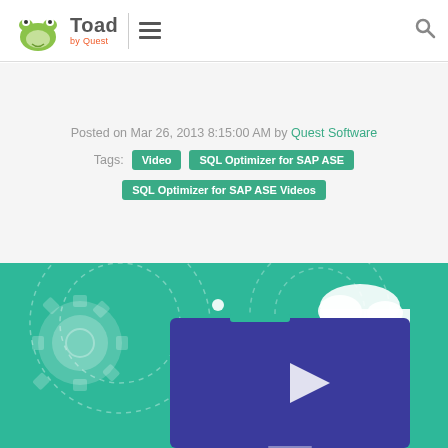[Figure (logo): Toad by Quest logo with frog icon, text 'Toad' and 'by Quest', vertical divider, hamburger menu icon, and search icon on right]
Posted on Mar 26, 2013 8:15:00 AM by Quest Software
Tags: Video  SQL Optimizer for SAP ASE
SQL Optimizer for SAP ASE Videos
[Figure (screenshot): Video thumbnail with teal/green background showing gear icon, dotted arc lines, cloud icon, and blue video player screen with play button triangle]